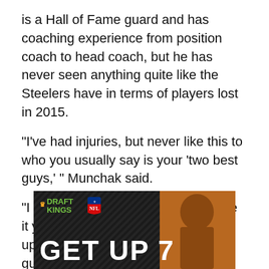is a Hall of Fame guard and has coaching experience from position coach to head coach, but he has never seen anything quite like the Steelers have in terms of players lost in 2015.
"I've had injuries, but never like this to who you usually say is your ‘two best guys,’ " Munchak said.
"I don't think people really appreciate it yet — I think it will be looked back upon with people like, ‘Man, those guys have done a solid job, considering what jobs other teams have done with backups,’ " guard Ramon Foster said.
[Figure (other): DraftKings NFL advertisement banner with 'GET UP 7' text and a person visible on the right side]